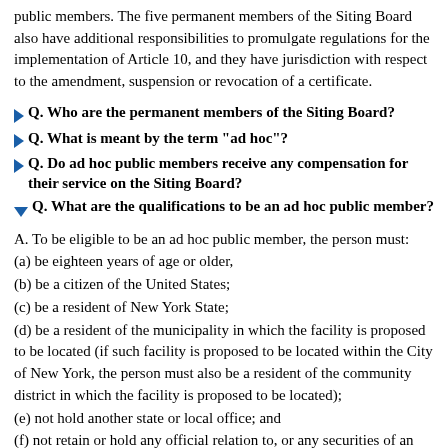public members. The five permanent members of the Siting Board also have additional responsibilities to promulgate regulations for the implementation of Article 10, and they have jurisdiction with respect to the amendment, suspension or revocation of a certificate.
Q. Who are the permanent members of the Siting Board?
Q. What is meant by the term "ad hoc"?
Q. Do ad hoc public members receive any compensation for their service on the Siting Board?
Q. What are the qualifications to be an ad hoc public member?
A. To be eligible to be an ad hoc public member, the person must:
(a) be eighteen years of age or older,
(b) be a citizen of the United States;
(c) be a resident of New York State;
(d) be a resident of the municipality in which the facility is proposed to be located (if such facility is proposed to be located within the City of New York, the person must also be a resident of the community district in which the facility is proposed to be located);
(e) not hold another state or local office; and
(f) not retain or hold any official relation to, or any securities of an electric utility corporation operating in the state or proposed for operation in the state, any affiliate thereof or any other company